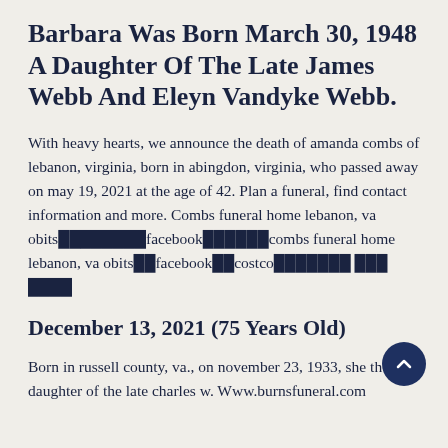Barbara Was Born March 30, 1948 A Daughter Of The Late James Webb And Eleyn Vandyke Webb.
With heavy hearts, we announce the death of amanda combs of lebanon, virginia, born in abingdon, virginia, who passed away on may 19, 2021 at the age of 42. Plan a funeral, find contact information and more. Combs funeral home lebanon, va obits████████facebook██████combs funeral home lebanon, va obits██facebook██costco███████ ███ ████
December 13, 2021 (75 Years Old)
Born in russell county, va., on november 23, 1933, she the daughter of the late charles w. Www.burnsfuneral.com